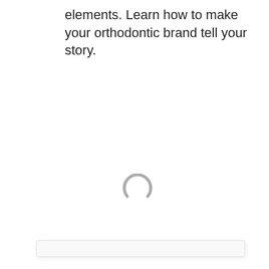elements. Learn how to make your orthodontic brand tell your story.
[Figure (other): A loading spinner (circular arc) centered in a light gray card/panel, indicating content is loading.]